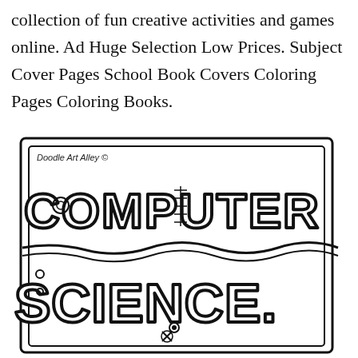collection of fun creative activities and games online. Ad Huge Selection Low Prices. Subject Cover Pages School Book Covers Coloring Pages Coloring Books.
[Figure (illustration): Doodle Art Alley coloring page showing a school book cover with the words 'COMPUTER SCIENCE' in large decorative bubble/doodle-style letters on a notebook/book illustration. The image is black and white line art intended for coloring.]